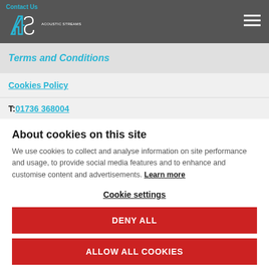Contact Us | Acoustic Streams
Terms and Conditions
Cookies Policy
T: 01736 368004
About cookies on this site
We use cookies to collect and analyse information on site performance and usage, to provide social media features and to enhance and customise content and advertisements. Learn more
Cookie settings
DENY ALL
ALLOW ALL COOKIES